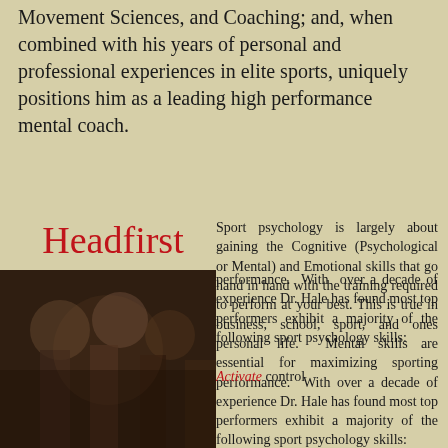Movement Sciences, and Coaching; and, when combined with his years of personal and professional experiences in elite sports, uniquely positions him as a leading high performance mental coach.
Headfirst
champion mindsets
To compete as a CHAMPION you must first think as a CHAMPION
Sport psychology is largely about gaining the Cognitive (Psychological or Mental) and Emotional skills that go hand in hand with the training required to perform at your best. This is true in business, school, sport, and ones personal life. Mental skills are essential for maximizing sporting performance. With over a decade of experience Dr. Hale has found most top performers exhibit a majority of the following sport psychology skills:
[Figure (photo): Blurred photo of athletes or people in a crowd, dark toned image]
Activate control